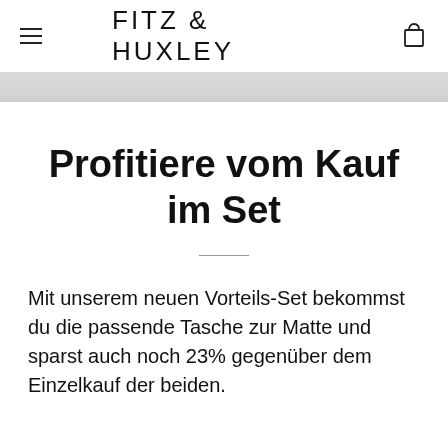FITZ & HUXLEY
Profitiere vom Kauf im Set
Mit unserem neuen Vorteils-Set bekommst du die passende Tasche zur Matte und sparst auch noch 23% gegenüber dem Einzelkauf der beiden.